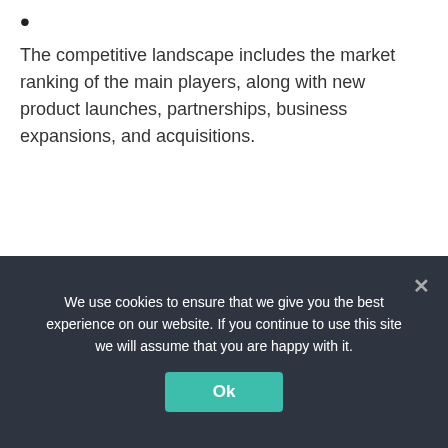The competitive landscape includes the market ranking of the main players, along with new product launches, partnerships, business expansions, and acquisitions.
The report provides extensive company profiles comprising of company overview, company insights, product benchmarking, and SWOT analysis for the main market players.
The report gives the present and future market outlook
We use cookies to ensure that we give you the best experience on our website. If you continue to use this site we will assume that you are happy with it.